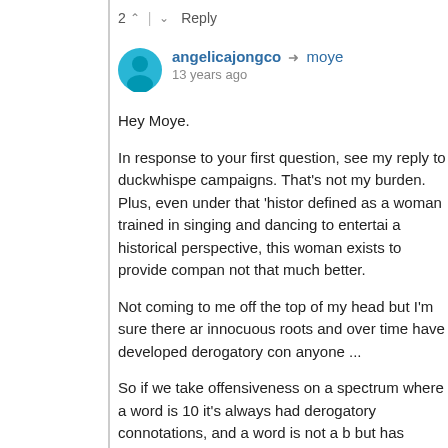2 ^ | v Reply
angelicajongco → moye
13 years ago
Hey Moye.
In response to your first question, see my reply to duckwhispe campaigns. That's not my burden. Plus, even under that 'histor defined as a woman trained in singing and dancing to entertai a historical perspective, this woman exists to provide compan not that much better.
Not coming to me off the top of my head but I'm sure there ar innocuous roots and over time have developed derogatory con anyone ...
So if we take offensiveness on a spectrum where a word is 10 it's always had derogatory connotations, and a word is not a b but has innocuous roots -- then I guess it might look like
Chink - Sambo (no way) ---> ---> --> geisha (fine by me).
where does dogeater fit? what about coon?